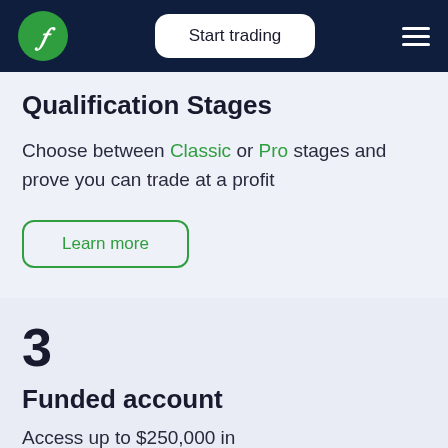Start trading
Qualification Stages
Choose between Classic or Pro stages and prove you can trade at a profit
Learn more
3
Funded account
Access up to $250,000 in